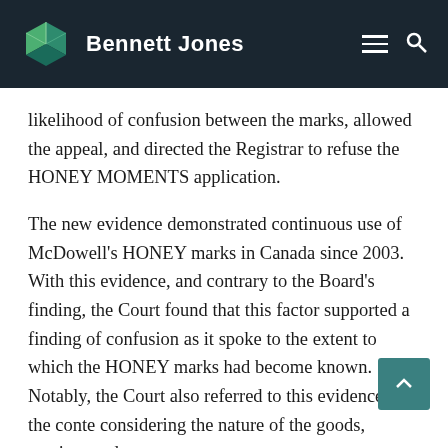Bennett Jones
likelihood of confusion between the marks, allowed the appeal, and directed the Registrar to refuse the HONEY MOMENTS application.
The new evidence demonstrated continuous use of McDowell's HONEY marks in Canada since 2003. With this evidence, and contrary to the Board's finding, the Court found that this factor supported a finding of confusion as it spoke to the extent to which the HONEY marks had become known.  Notably, the Court also referred to this evidence in the conte considering the nature of the goods, services and